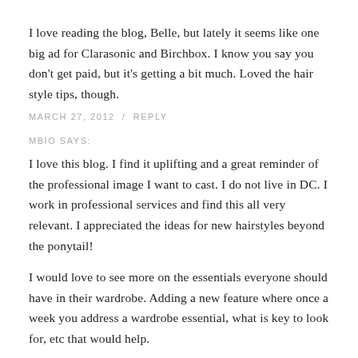I love reading the blog, Belle, but lately it seems like one big ad for Clarasonic and Birchbox. I know you say you don't get paid, but it's getting a bit much. Loved the hair style tips, though.
MARCH 27, 2012  /  REPLY
MBIO SAYS:
I love this blog. I find it uplifting and a great reminder of the professional image I want to cast. I do not live in DC. I work in professional services and find this all very relevant. I appreciated the ideas for new hairstyles beyond the ponytail!
I would love to see more on the essentials everyone should have in their wardrobe. Adding a new feature where once a week you address a wardrobe essential, what is key to look for, etc that would help.